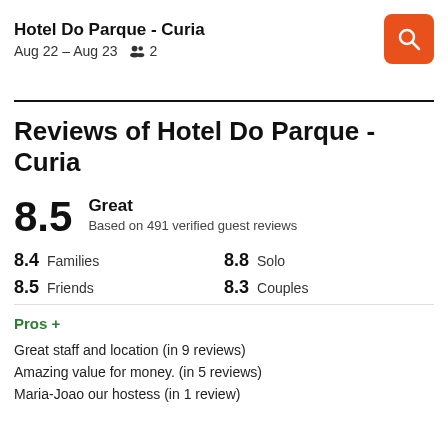Hotel Do Parque - Curia · Aug 22 – Aug 23 · 2 guests
Reviews of Hotel Do Parque - Curia
8.5 Great · Based on 491 verified guest reviews
8.4 Families · 8.8 Solo · 8.5 Friends · 8.3 Couples
Pros +
Great staff and location (in 9 reviews)
Amazing value for money. (in 5 reviews)
Maria-Joao our hostess (in 1 review)